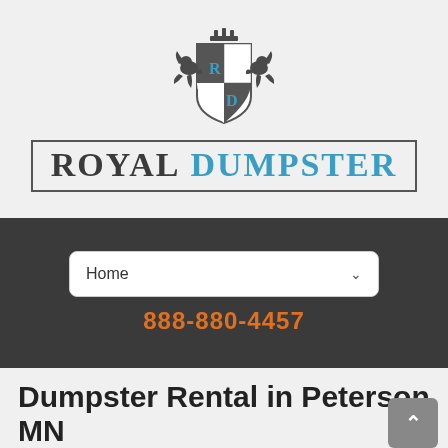[Figure (logo): Royal Dumpster logo with heraldic crest (two lions, crown, shield with R and D letters) above text reading ROYAL DUMPSTER in a bordered box]
Home
888-880-4457
Dumpster Rental in Peterson MN